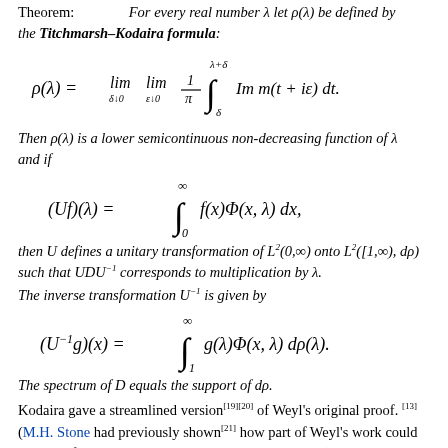Theorem: For every real number λ let ρ(λ) be defined by the Titchmarsh–Kodaira formula:
Then ρ(λ) is a lower semicontinuous non-decreasing function of λ and if
then U defines a unitary transformation of L²(0,∞) onto L²([1,∞), dρ) such that UDU⁻¹ corresponds to multiplication by λ.
The inverse transformation U⁻¹ is given by
The spectrum of D equals the support of dρ.
Kodaira gave a streamlined version[19][20] of Weyl's original proof. [13] (M.H. Stone had previously shown[21] how part of Weyl's work could be simplified using von Neumann's spectral theorem.)
In fact for T=D⁻¹ with 0 ≤ T ≤ I, the spectral projection E(λ) of T is